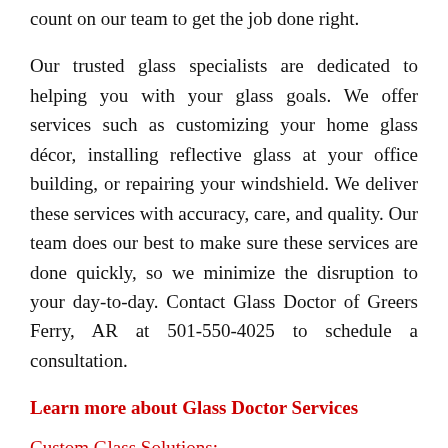count on our team to get the job done right.
Our trusted glass specialists are dedicated to helping you with your glass goals. We offer services such as customizing your home glass décor, installing reflective glass at your office building, or repairing your windshield. We deliver these services with accuracy, care, and quality. Our team does our best to make sure these services are done quickly, so we minimize the disruption to your day-to-day. Contact Glass Doctor of Greers Ferry, AR at 501-550-4025 to schedule a consultation.
Learn more about Glass Doctor Services
Custom Glass Solutions:
Glass Doctor of Greers Ferry, AR offers a wide range of décor creation services, so we can help bring your vision to life. We can assist with glass